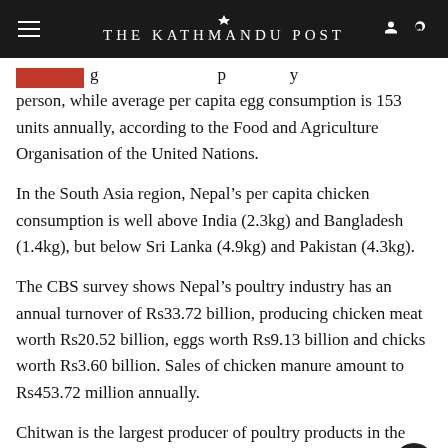THE KATHMANDU POST
person, while average per capita egg consumption is 153 units annually, according to the Food and Agriculture Organisation of the United Nations.
In the South Asia region, Nepal’s per capita chicken consumption is well above India (2.3kg) and Bangladesh (1.4kg), but below Sri Lanka (4.9kg) and Pakistan (4.3kg).
The CBS survey shows Nepal’s poultry industry has an annual turnover of Rs33.72 billion, producing chicken meat worth Rs20.52 billion, eggs worth Rs9.13 billion and chicks worth Rs3.60 billion. Sales of chicken manure amount to Rs453.72 million annually.
Chitwan is the largest producer of poultry products in the country, with the district recording a turnover of Rs10.17